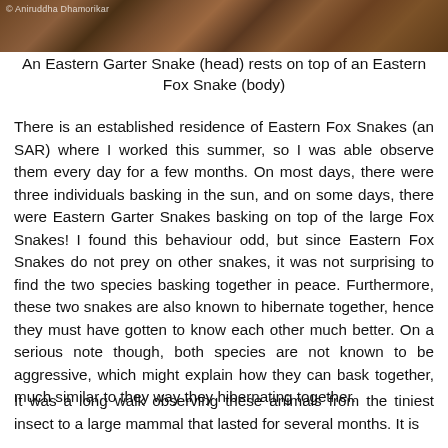[Figure (photo): A dark photograph strip showing snake scales/bodies, likely Eastern Fox Snake and Eastern Garter Snake intertwined. Watermark reads '© Aniruddha Dhamorikar']
An Eastern Garter Snake (head) rests on top of an Eastern Fox Snake (body)
There is an established residence of Eastern Fox Snakes (an SAR) where I worked this summer, so I was able observe them every day for a few months. On most days, there were three individuals basking in the sun, and on some days, there were Eastern Garter Snakes basking on top of the large Fox Snakes! I found this behaviour odd, but since Eastern Fox Snakes do not prey on other snakes, it was not surprising to find the two species basking together in peace. Furthermore, these two snakes are also known to hibernate together, hence they must have gotten to know each other much better. On a serious note though, both species are not known to be aggressive, which might explain how they can bask together, much similar to they way they hibernating together.
It was a long walk observing these animals from the tiniest insect to a large mammal that lasted for several months. It is